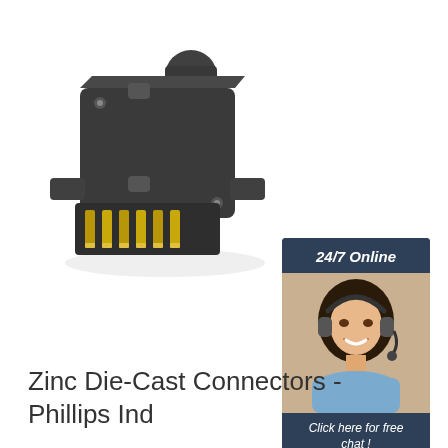[Figure (photo): Photo of a Zinc Die-Cast Connector (Phillips Ind style) - a dark grey/black multi-pin flat trailer electrical connector plug with gold-colored pins visible on the front face, photographed at an angle on a white background.]
[Figure (infographic): Sidebar banner advertisement: dark navy blue background, '24/7 Online' text at top in white italic, photo of a smiling woman with dark hair wearing a headset/microphone in the center, 'Click here for free chat !' text in white italic below, and an orange button labeled 'QUOTATION' at the bottom.]
Zinc Die-Cast Connectors - Phillips Ind